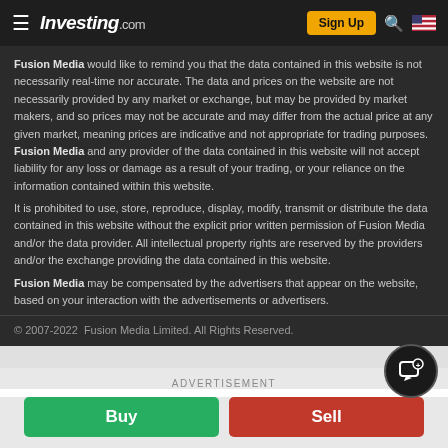Investing.com — Sign Up
Fusion Media would like to remind you that the data contained in this website is not necessarily real-time nor accurate. The data and prices on the website are not necessarily provided by any market or exchange, but may be provided by market makers, and so prices may not be accurate and may differ from the actual price at any given market, meaning prices are indicative and not appropriate for trading purposes. Fusion Media and any provider of the data contained in this website will not accept liability for any loss or damage as a result of your trading, or your reliance on the information contained within this website.
It is prohibited to use, store, reproduce, display, modify, transmit or distribute the data contained in this website without the explicit prior written permission of Fusion Media and/or the data provider. All intellectual property rights are reserved by the providers and/or the exchange providing the data contained in this website.
Fusion Media may be compensated by the advertisers that appear on the website, based on your interaction with the advertisements or advertisers.
© 2007-2022  Fusion Media Limited. All Rights Reserved.
ADVERTISEMENT
Buy  Sell
| AD |